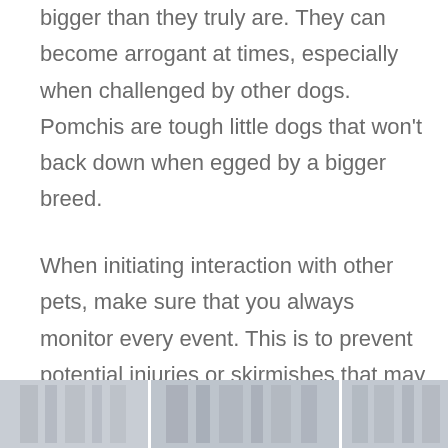bigger than they truly are. They can become arrogant at times, especially when challenged by other dogs. Pomchis are tough little dogs that won't back down when egged by a bigger breed.
When initiating interaction with other pets, make sure that you always monitor every event. This is to prevent potential injuries or skirmishes that may happen. Remember, this breed does not say no to any challenge!
[Figure (photo): Three partial photos of dogs, shown as a horizontal strip at the bottom of the page, cropped]